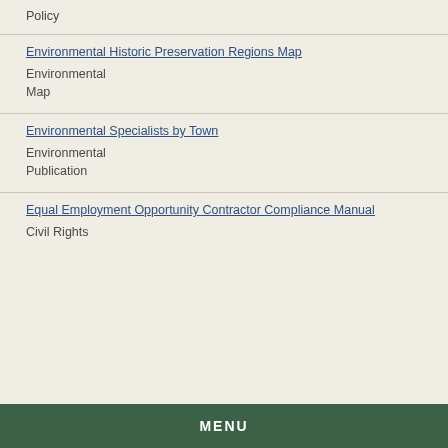Policy
Environmental Historic Preservation Regions Map
Environmental
Map
Environmental Specialists by Town
Environmental
Publication
Equal Employment Opportunity Contractor Compliance Manual
Civil Rights
Manual
MENU